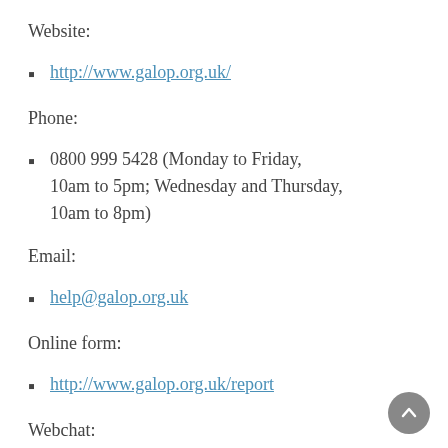Website:
http://www.galop.org.uk/
Phone:
0800 999 5428 (Monday to Friday, 10am to 5pm; Wednesday and Thursday, 10am to 8pm)
Email:
help@galop.org.uk
Online form:
http://www.galop.org.uk/report
Webchat: